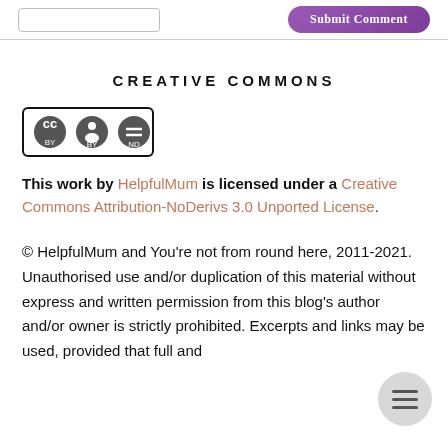[Figure (screenshot): Top bar with an input text box and a purple 'Submit Comment' button]
CREATIVE COMMONS
[Figure (logo): Creative Commons BY-ND license badge icon]
This work by HelpfulMum is licensed under a Creative Commons Attribution-NoDerivs 3.0 Unported License.
© HelpfulMum and You're not from round here, 2011-2021. Unauthorised use and/or duplication of this material without express and written permission from this blog's author and/or owner is strictly prohibited. Excerpts and links may be used, provided that full and